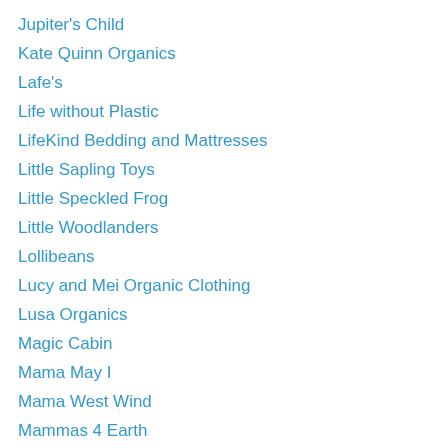Jupiter's Child
Kate Quinn Organics
Lafe's
Life without Plastic
LifeKind Bedding and Mattresses
Little Sapling Toys
Little Speckled Frog
Little Woodlanders
Lollibeans
Lucy and Mei Organic Clothing
Lusa Organics
Magic Cabin
Mama May I
Mama West Wind
Mammas 4 Earth
Mandy and Randy Toys
Meinl Nino Percussion
Miessence
Mighty Nest
Miyim toys